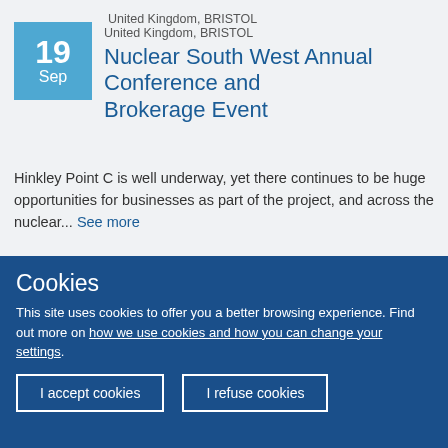United Kingdom, BRISTOL
Nuclear South West Annual Conference and Brokerage Event
Hinkley Point C is well underway, yet there continues to be huge opportunities for businesses as part of the project, and across the nuclear... See more
Italy, Bolzano
B2B-Meetings
Cookies
This site uses cookies to offer you a better browsing experience. Find out more on how we use cookies and how you can change your settings.
I accept cookies
I refuse cookies